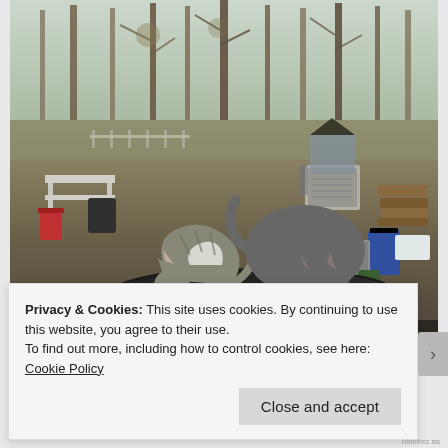[Figure (photo): Outdoor photograph showing three cats on what appears to be a rolled yoga mat or similar equipment in a backyard or rural yard setting. Two larger cats (one tabby/white, one solid gray) and one smaller gray cat are perched on dark rolled mat/equipment. Background shows bare deciduous trees, grass, and various yard items including what appears to be an air conditioning unit, red bucket, blue container, and wood pile. The setting appears to be late autumn or early winter.]
Privacy & Cookies: This site uses cookies. By continuing to use this website, you agree to their use.
To find out more, including how to control cookies, see here: Cookie Policy
Close and accept